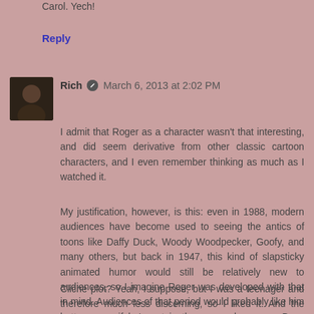Carol. Yech!
Reply
Rich  March 6, 2013 at 2:02 PM
I admit that Roger as a character wasn't that interesting, and did seem derivative from other classic cartoon characters, and I even remember thinking as much as I watched it.
My justification, however, is this: even in 1988, modern audiences have become used to seeing the antics of toons like Daffy Duck, Woody Woodpecker, Goofy, and many others, but back in 1947, this kind of slapsticky animated humor would still be relatively new to audiences, so I imagine Roger was developed with that in mind. Audiences of that period would probably like him better, even if he's not in the same class as a Bugs Bunny.
Cliche plot? Yeah, I suppose, but I was a teenager and therefore much less discerning, so I liked it. And the cliche